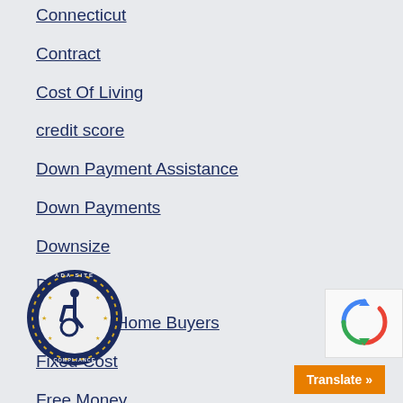Connecticut
Contract
Cost Of Living
credit score
Down Payment Assistance
Down Payments
Downsize
Duplex
First Time Home Buyers
Fixed Cost
Free Money
...urgh
...olidays
...uying Process
[Figure (logo): ADA Site Compliance badge with wheelchair icon in navy circle with gold stars and text 'ADA SITE COMPLIANCE']
[Figure (logo): reCAPTCHA logo]
Translate »